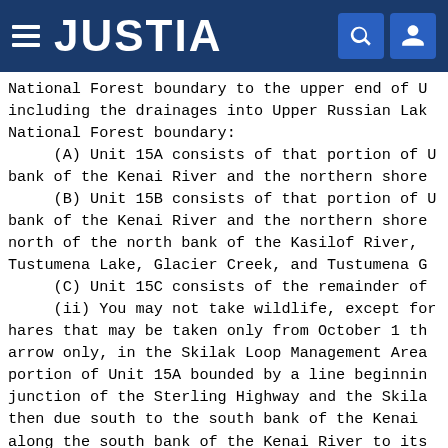JUSTIA
National Forest boundary to the upper end of U including the drainages into Upper Russian Lak National Forest boundary:
    (A) Unit 15A consists of that portion of U bank of the Kenai River and the northern shore
    (B) Unit 15B consists of that portion of U bank of the Kenai River and the northern shore north of the north bank of the Kasilof River, Tustumena Lake, Glacier Creek, and Tustumena G
    (C) Unit 15C consists of the remainder of
    (ii) You may not take wildlife, except for hares that may be taken only from October 1 th arrow only, in the Skilak Loop Management Area portion of Unit 15A bounded by a line beginnin junction of the Sterling Highway and the Skila then due south to the south bank of the Kenai along the south bank of the Kenai River to its